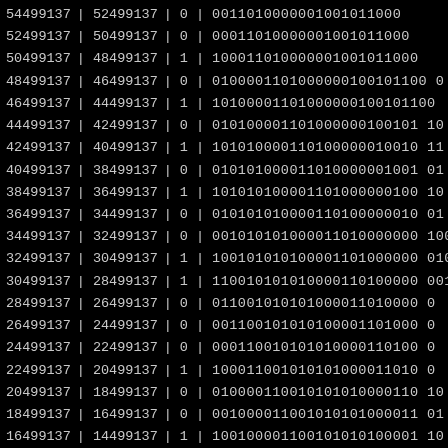| col1 | | | col2 | | | bit | | | binary |
| --- | --- | --- | --- | --- | --- | --- |
| 54499137 | | | 52499137 | | | 0 | | | 0011010000001001011000 |
| 52499137 | | | 50499137 | | | 0 | | | 0001101000000100101100 0 |
| 50499137 | | | 48499137 | | | 1 | | | 10001101000000100101100 0 |
| 48499137 | | | 46499137 | | | 0 | | | 010000110100000010010110 00 |
| 46499137 | | | 44499137 | | | 1 | | | 1010000110100000010010110 0 |
| 44499137 | | | 42499137 | | | 0 | | | 010100001101000000100101 10 |
| 42499137 | | | 40499137 | | | 1 | | | 10101000011010000001001011 |
| 40499137 | | | 38499137 | | | 0 | | | 01010100001101000000100101 |
| 38499137 | | | 36499137 | | | 1 | | | 10101010000110100000010010 |
| 36499137 | | | 34499137 | | | 0 | | | 01010101000011010000001001 |
| 34499137 | | | 32499137 | | | 0 | | | 001010101000011010000000100 |
| 32499137 | | | 30499137 | | | 1 | | | 100101010100001101000000010 |
| 30499137 | | | 28499137 | | | 1 | | | 110010101010000110100000001 |
| 28499137 | | | 26499137 | | | 0 | | | 011001010101000011010000 0 |
| 26499137 | | | 24499137 | | | 0 | | | 001100101010100001101000 0 |
| 24499137 | | | 22499137 | | | 0 | | | 000110010101010000110100 0 |
| 22499137 | | | 20499137 | | | 1 | | | 100011001010101000011010 0 |
| 20499137 | | | 18499137 | | | 0 | | | 010000110010101010000110 10 |
| 18499137 | | | 16499137 | | | 0 | | | 001000011001010101000011 01 |
| 16499137 | | | 14499137 | | | 1 | | | 100100001100101010100001 10 |
| 14499137 | | | 12499137 | | | 0 | | | 010010000110010101010000 11 |